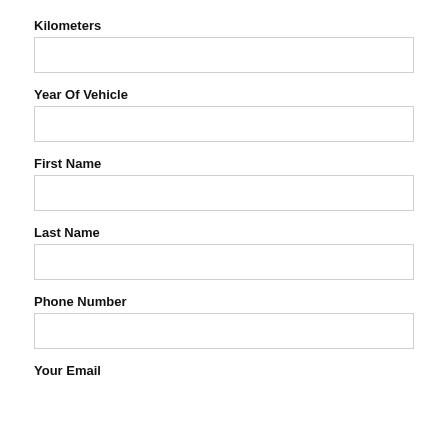Kilometers
Year Of Vehicle
First Name
Last Name
Phone Number
Your Email